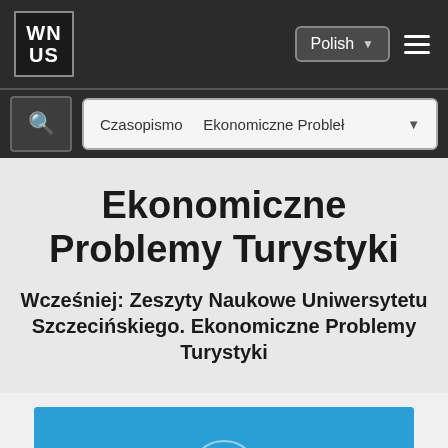[Figure (logo): WN US logo - white letters on dark background in a bordered box]
Polish
[Figure (screenshot): Navigation bar with search icon and breadcrumb: Czasopismo / Ekonomiczne Problemy...]
Ekonomiczne Problemy Turystyki
Wcześniej: Zeszyty Naukowe Uniwersytetu Szczecińskiego. Ekonomiczne Problemy Turystyki
[Figure (photo): Partial view of a blue card with a university seal at the bottom of the page]